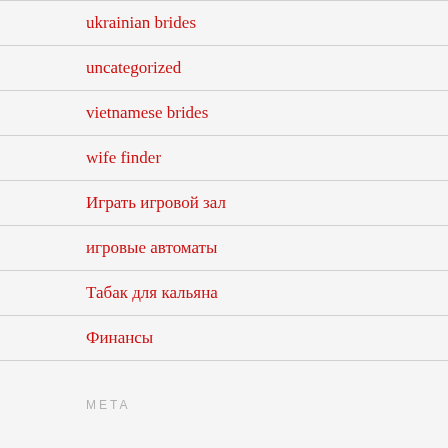ukrainian brides
uncategorized
vietnamese brides
wife finder
Играть игровой зал
игровые автоматы
Табак для кальяна
Финансы
META